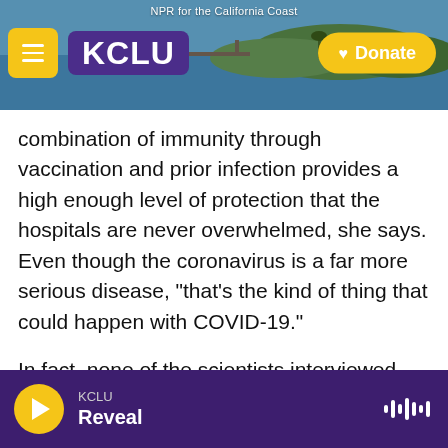NPR for the California Coast — KCLU — Donate
combination of immunity through vaccination and prior infection provides a high enough level of protection that the hospitals are never overwhelmed, she says. Even though the coronavirus is a far more serious disease, "that's the kind of thing that could happen with COVID-19."
In fact, none of the scientists interviewed says they believe the herd immunity threshold is the right goal for the public to worry about — they urge emphasizing vaccination instead. Sridhar points to the original political origins of the herd immunity discussion.
KCLU — Reveal